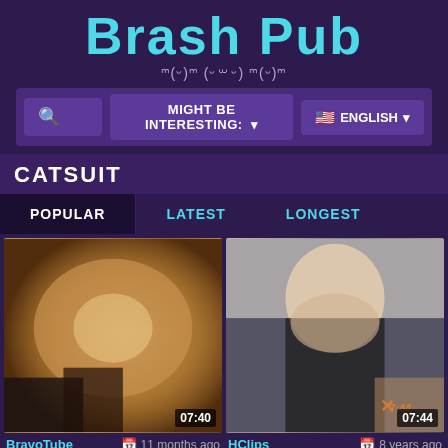Brash Pub
ᵐ(ᵕ)ᵐ (ᵕ) ᵐ(ᵕ)ᵐ
🔍  MIGHT BE INTERESTING: ▾    🇺🇸 ENGLISH ▾
CATSUIT
POPULAR
LATEST
LONGEST
[Figure (photo): Video thumbnail 1 - catsuit video, duration 07:40]
[Figure (photo): Video thumbnail 2 - catsuit video, duration 07:44]
BravoTube   11 months ago
HClips   8 years ago
Skintight